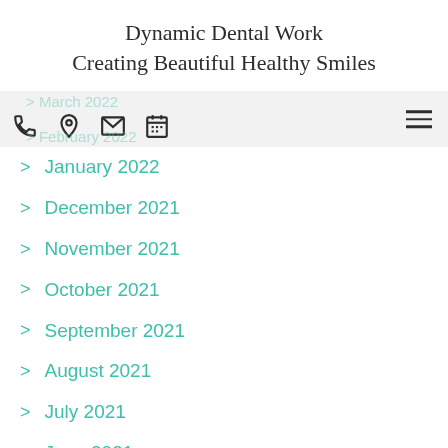Dynamic Dental Work
Creating Beautiful Healthy Smiles
March 2022
February 2022
January 2022
December 2021
November 2021
October 2021
September 2021
August 2021
July 2021
June 2021
May 2021